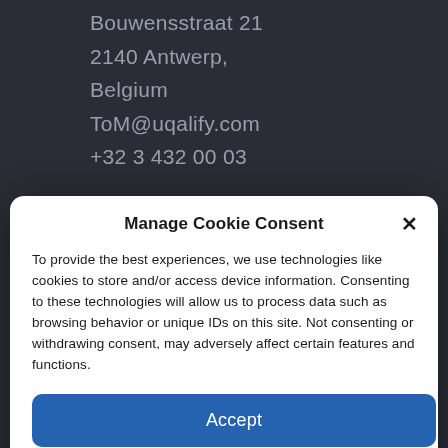Bouwensstraat 21
2140 Antwerp,
Belgium
ToM@uqalify.com
+32 3 432 00 03
Manage Cookie Consent
To provide the best experiences, we use technologies like cookies to store and/or access device information. Consenting to these technologies will allow us to process data such as browsing behavior or unique IDs on this site. Not consenting or withdrawing consent, may adversely affect certain features and functions.
Accept
Deny
View preferences